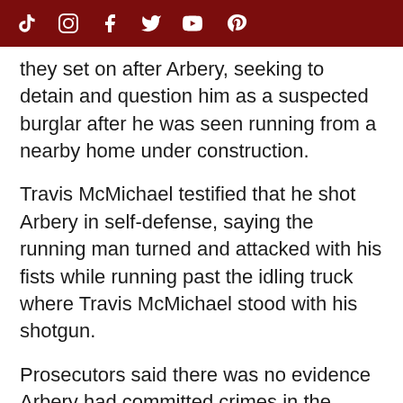[Social media icons: TikTok, Instagram, Facebook, Twitter, YouTube, Pinterest]
they set on after Arbery, seeking to detain and question him as a suspected burglar after he was seen running from a nearby home under construction.
Travis McMichael testified that he shot Arbery in self-defense, saying the running man turned and attacked with his fists while running past the idling truck where Travis McMichael stood with his shotgun.
Prosecutors said there was no evidence Arbery had committed crimes in the defendants' neighborhood. He had enrolled at a technical college and was preparing at the time to study to become an electrician like his